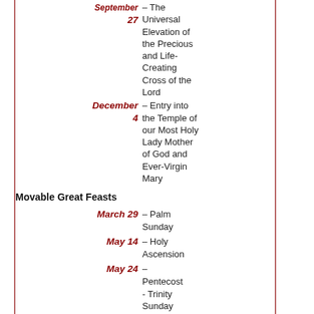September 27 – The Universal Elevation of the Precious and Life-Creating Cross of the Lord
December 4 – Entry into the Temple of our Most Holy Lady Mother of God and Ever-Virgin Mary
Movable Great Feasts
March 29 – Palm Sunday
May 14 – Holy Ascension
May 24 – Pentecost - Trinity Sunday
Feasts
January 14 – Circumcision of the Lord – The Nativity of...